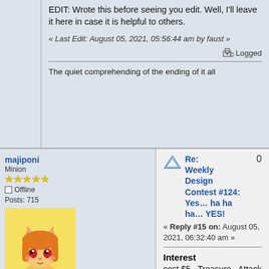EDIT: Wrote this before seeing you edit. Well, I'll leave it here in case it is helpful to others.
« Last Edit: August 05, 2021, 05:56:44 am by faust »
Logged
The quiet comprehending of the ending of it all
majiponi
Minion
Offline
Posts: 715
[Figure (illustration): Anime-style cat girl avatar with orange hair and red eyes on yellow background]
Respect: +618
Re: Weekly Design Contest #124: Yes… ha ha ha… YES!
« Reply #15 on: August 05, 2021, 06:32:40 am »
Interest
cost $5 - Treasure - Attack +$2
Each other player reveals the top 2 cards of their deck, trashes one of those